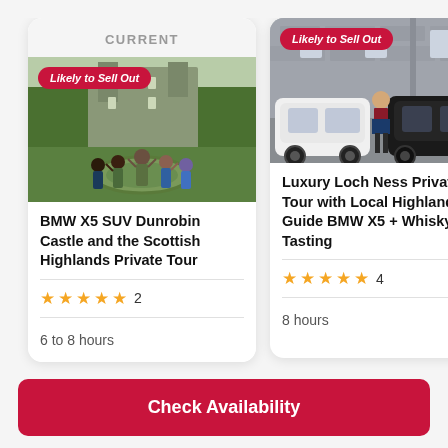CURRENT
[Figure (photo): Group of people posing in front of Dunrobin Castle with gardens and fountain]
Likely to Sell Out
BMW X5 SUV Dunrobin Castle and the Scottish Highlands Private Tour
★★★★★ 2
6 to 8 hours
[Figure (photo): Two BMW X5 SUVs parked in front of a stone distillery building with a person in Scottish attire]
Likely to Sell Out
Luxury Loch Ness Private Tour with Local Highland Guide BMW X5 + Whisky Tasting
★★★★★ 4
8 hours
[Figure (photo): Partial view of third tour card showing a white car]
Likely to Sell Out
Scot... Disti... Priva... Luxu...
★★
8 ho...
Check Availability